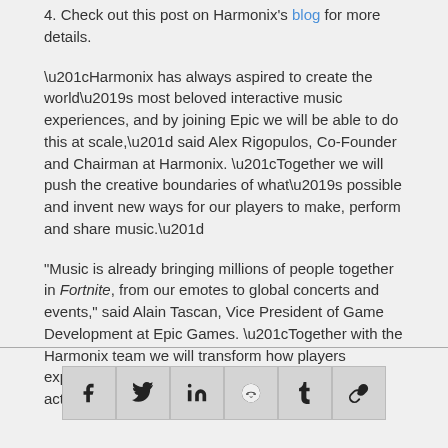4. Check out this post on Harmonix's blog for more details.
“Harmonix has always aspired to create the world’s most beloved interactive music experiences, and by joining Epic we will be able to do this at scale,” said Alex Rigopulos, Co-Founder and Chairman at Harmonix. “Together we will push the creative boundaries of what’s possible and invent new ways for our players to make, perform and share music.”
“Music is already bringing millions of people together in Fortnite, from our emotes to global concerts and events,” said Alain Tascan, Vice President of Game Development at Epic Games. “Together with the Harmonix team we will transform how players experience music, going from passive listeners to active participants.”
[Figure (infographic): Social share buttons: Facebook, Twitter, LinkedIn, Reddit, Tumblr, Link/copy]